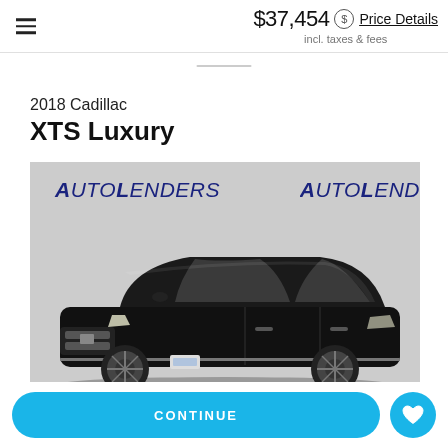$37,454 incl. taxes & fees  Price Details
2018 Cadillac XTS Luxury
[Figure (photo): Black 2018 Cadillac XTS Luxury sedan photographed at AutoLenders dealership against a gray backdrop with AutoLenders logo visible.]
CONTINUE